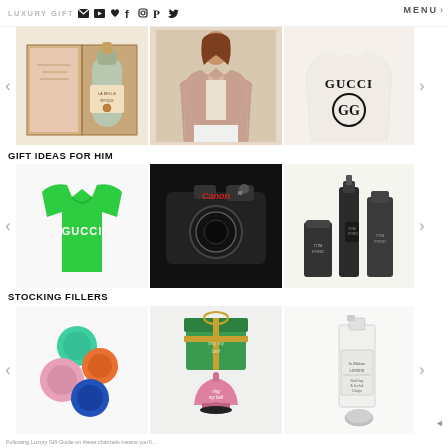LUXURY GIFT GUIDE | MENU
[Figure (photo): Three product images in a carousel: a champagne bottle in wooden gift box, a woman in pink leather jacket, a cream Gucci logo sweatshirt]
GIFT IDEAS FOR HIM
[Figure (photo): Three product images in a carousel: a green Gucci logo t-shirt, a Canon DSLR camera body, Tom Ford grooming products set]
STOCKING FILLERS
[Figure (photo): Three product images in a carousel: colorful circular cosmetic discs, a pink hotel bell candle gift set, Jo Malone perfume bottle]
Following Luxury Gift Guide on these channels means you'll...